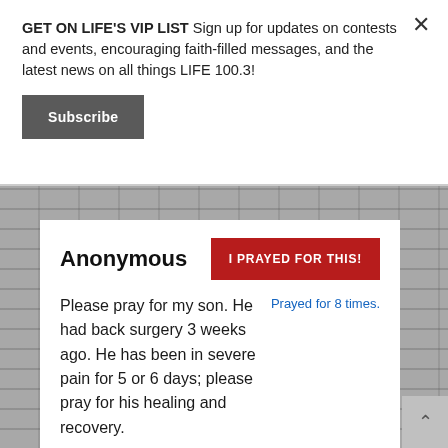GET ON LIFE'S VIP LIST Sign up for updates on contests and events, encouraging faith-filled messages, and the latest news on all things LIFE 100.3!
Subscribe
Anonymous
I PRAYED FOR THIS!
Please pray for my son. He had back surgery 3 weeks ago. He has been in severe pain for 5 or 6 days; please pray for his healing and recovery.
Prayed for 8 times.
Posted on June 27th, 2022